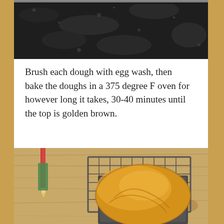[Figure (photo): Top portion of a photo showing a dark granite or stone countertop surface, cropped at the top of the page]
Brush each dough with egg wash, then bake the doughs in a 375 degree F oven for however long it takes, 30-40 minutes until the top is golden brown.
[Figure (photo): Photo of a golden brown baked bread loaf in a square metal loaf pan sitting on a wire cooling rack on a wooden surface, with a pencil visible on the left side]